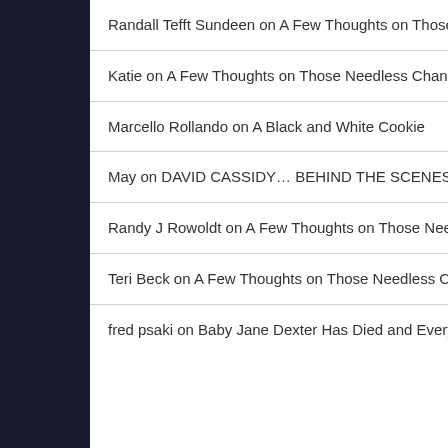Randall Tefft Sundeen on A Few Thoughts on Those Needless Changes to “The Music Man”
Katie on A Few Thoughts on Those Needless Changes to “The Music Man”
Marcello Rollando on A Black and White Cookie
May on DAVID CASSIDY... BEHIND THE SCENES
Randy J Rowoldt on A Few Thoughts on Those Needless Changes to “The Music Man”
Teri Beck on A Few Thoughts on Those Needless Changes to “The Music Man”
fred psaki on Baby Jane Dexter Has Died and Everybody Hurts